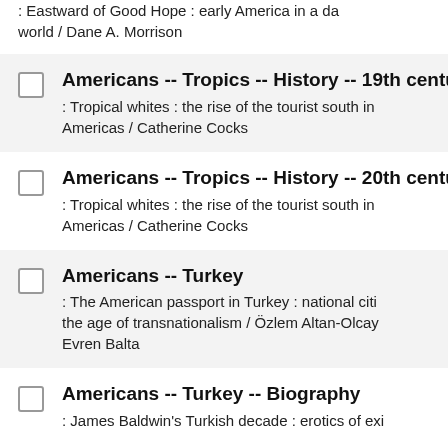: Eastward of Good Hope : early America in a da world / Dane A. Morrison
Americans -- Tropics -- History -- 19th centu : Tropical whites : the rise of the tourist south in Americas / Catherine Cocks
Americans -- Tropics -- History -- 20th centu : Tropical whites : the rise of the tourist south in Americas / Catherine Cocks
Americans -- Turkey : The American passport in Turkey : national citi the age of transnationalism / Özlem Altan-Olcay Evren Balta
Americans -- Turkey -- Biography : James Baldwin's Turkish decade : erotics of exi